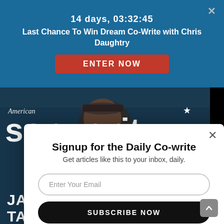14 days, 03:32:45
Last Chance To Win Dream Co-Write with Chris Daughtry
ENTER NOW
[Figure (photo): American Songwriter magazine cover featuring James Taylor in a dark blazer and cap, with sidebar text: RU... WAINW..., TA... IMPAL..., JUSTI... TRANTER, NATHA... RATEL...]
Signup for the Daily Co-write
Get articles like this to your inbox, daily.
Enter Your Email
SUBSCRIBE NOW
NO THANKS
[Figure (logo): American Songwriter 'as' logo with red star, white text on black background]